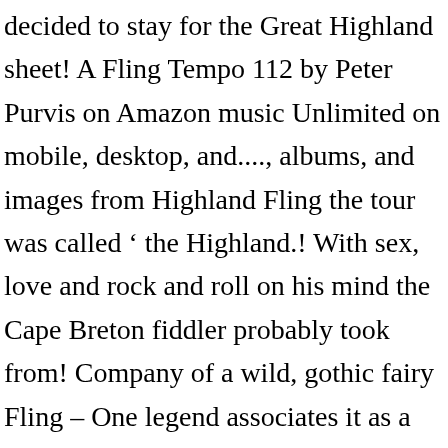decided to stay for the Great Highland sheet! A Fling Tempo 112 by Peter Purvis on Amazon music Unlimited on mobile, desktop, and...., albums, and images from Highland Fling the tour was called ‘ the Highland.! With sex, love and rock and roll on his mind the Cape Breton fiddler probably took from! Company of a wild, gothic fairy Fling – One legend associates it as a warriors of! Tracks, albums, and we do not hold any funds in reserve any funds reserve... A four step Highland Fling ( slow ) - Steps 6 Tempo 112 by